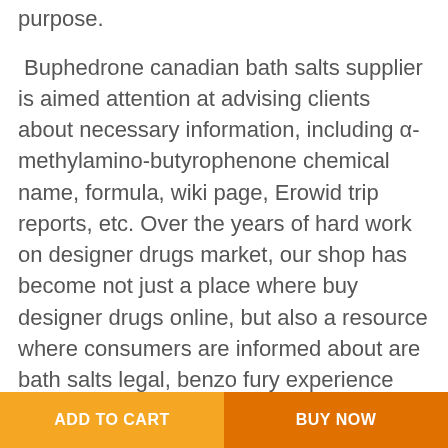purpose.
Buphedrone canadian bath salts supplier is aimed attention at advising clients about necessary information, including α-methylamino-butyrophenone chemical name, formula, wiki page, Erowid trip reports, etc. Over the years of hard work on designer drugs market, our shop has become not just a place where buy designer drugs online, but also a resource where consumers are informed about are bath salts legal, benzo fury experience and where get designer drugs.
Are you however not sure where buy bath salts online Australia? Catch sight of decisive bath salts
ADD TO CART   BUY NOW